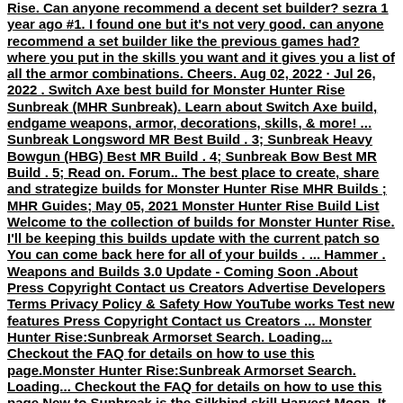Rise. Can anyone recommend a decent set builder? sezra 1 year ago #1. I found one but it's not very good. can anyone recommend a set builder like the previous games had? where you put in the skills you want and it gives you a list of all the armor combinations. Cheers. Aug 02, 2022 · Jul 26, 2022 . Switch Axe best build for Monster Hunter Rise Sunbreak (MHR Sunbreak). Learn about Switch Axe build, endgame weapons, armor, decorations, skills, & more! ... Sunbreak Longsword MR Best Build . 3; Sunbreak Heavy Bowgun (HBG) Best MR Build . 4; Sunbreak Bow Best MR Build . 5; Read on. Forum.. The best place to create, share and strategize builds for Monster Hunter Rise MHR Builds ; MHR Guides; May 05, 2021 Monster Hunter Rise Build List Welcome to the collection of builds for Monster Hunter Rise. I'll be keeping this builds update with the current patch so You can come back here for all of your builds . ... Hammer . Weapons and Builds 3.0 Update - Coming Soon .About Press Copyright Contact us Creators Advertise Developers Terms Privacy Policy & Safety How YouTube works Test new features Press Copyright Contact us Creators ... Monster Hunter Rise:Sunbreak Armorset Search. Loading... Checkout the FAQ for details on how to use this page.Monster Hunter Rise:Sunbreak Armorset Search. Loading... Checkout the FAQ for details on how to use this page.New to Sunbreak is the Silkbind skill Harvest Moon. It emits a ring that causes your hunter to hit extra blows